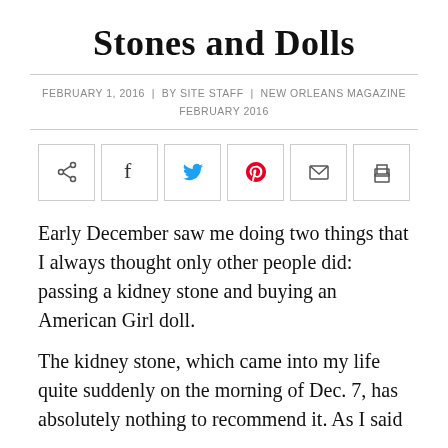Stones and Dolls
FEBRUARY 1, 2016  |  BY SITE STAFF  |  NEW ORLEANS MAGAZINE FEBRUARY 2016
[Figure (other): Social sharing buttons: share, Facebook, Twitter, Pinterest, email, print]
Early December saw me doing two things that I always thought only other people did: passing a kidney stone and buying an American Girl doll.
The kidney stone, which came into my life quite suddenly on the morning of Dec. 7, has absolutely nothing to recommend it. As I said